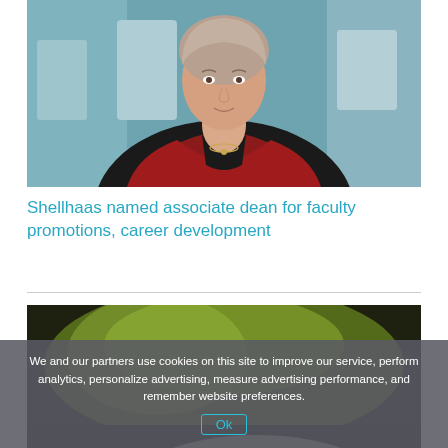[Figure (photo): Woman in red blazer, likely indoors near medical/lab equipment]
Shellhaas named associate dean for faculty promotions, career development
[Figure (photo): Close-up of blurred medications/pills in packaging on a dark background]
We and our partners use cookies on this site to improve our service, perform analytics, personalize advertising, measure advertising performance, and remember website preferences.
Ok